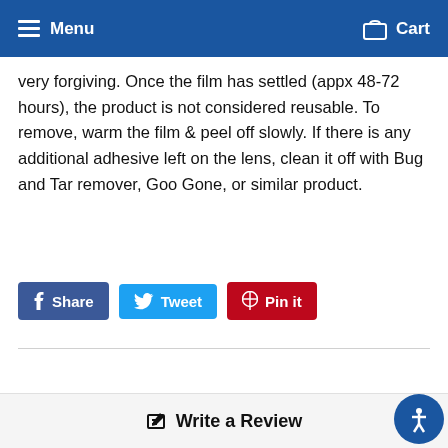Menu  Cart
very forgiving. Once the film has settled (appx 48-72 hours), the product is not considered reusable. To remove, warm the film & peel off slowly. If there is any additional adhesive left on the lens, clean it off with Bug and Tar remover, Goo Gone, or similar product.
Share  Tweet  Pin it
[Figure (other): Five empty star rating icons in a row]
Write a Review